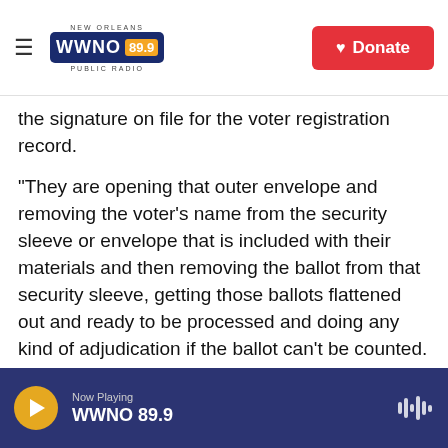NEW ORLEANS WWNO 89.9 PUBLIC RADIO | Donate
the signature on file for the voter registration record.
“They are opening that outer envelope and removing the voter’s name from the security sleeve or envelope that is included with their materials and then removing the ballot from that security sleeve, getting those ballots flattened out and ready to be processed and doing any kind of adjudication if the ballot can’t be counted. Because, you know, the voter ate a hamburger while they were voting and it got ketchup on it and we couldn’t put it through the reader. We get those ballots ready. And then at 8
Now Playing WWNO 89.9